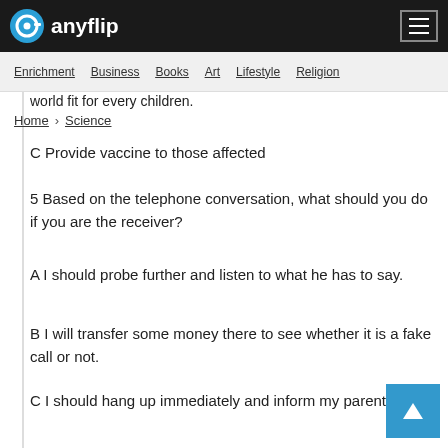anyflip
Enrichment  Business  Books  Art  Lifestyle  Religion
world fit for every children.
Home  Science
C Provide vaccine to those affected
5 Based on the telephone conversation, what should you do if you are the receiver?
A I should probe further and listen to what he has to say.
B I will transfer some money there to see whether it is a fake call or not.
C I should hang up immediately and inform my parents.